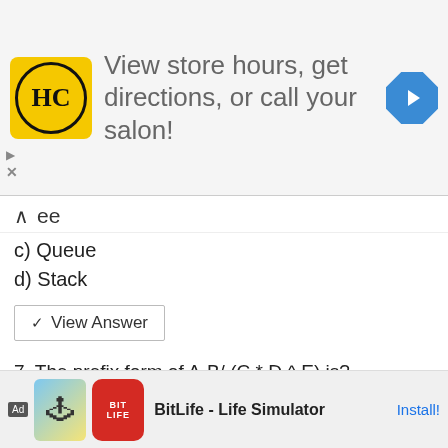[Figure (other): Advertisement banner: HC salon logo, text 'View store hours, get directions, or call your salon!' and a blue navigation diamond icon]
b) ee
c) Queue
d) Stack
View Answer
7. The prefix form of A-B/ (C * D ^ E) is?
a) -/*^ACBDE
b) -ABCD*ABE
[Figure (screenshot): Video overlay showing 'How_to_Install_' tutorial video with play button]
[Figure (other): Bottom advertisement: BitLife - Life Simulator app ad with Install button]